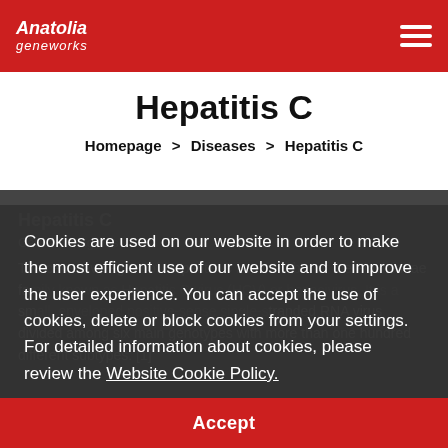Anatolia Geneworks
Hepatitis C
Homepage > Diseases > Hepatitis C
Hepatitis C
Causative agents
The causative agent of Hepatitis C is a member of the Flaviviridae family known as Hepatitis C virus (HCV) or hepacivirus. It is a small, enveloped positive-sense single stranded RNA virus divided among six main genotypes with more than one hundred different subtypes. [1]
Cookies are used on our website in order to make the most efficient use of our website and to improve the user experience. You can accept the use of cookies, delete or block cookies from your settings. For detailed information about cookies, please review the Website Cookie Policy.
Accept